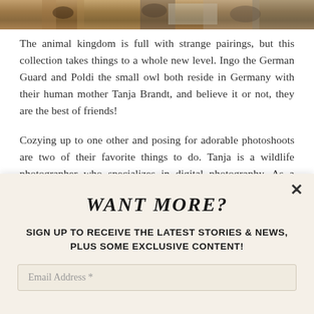[Figure (photo): Partial view of an animal photo (appears to be a dog and owl) cropped at the top of the page]
The animal kingdom is full with strange pairings, but this collection takes things to a whole new level. Ingo the German Guard and Poldi the small owl both reside in Germany with their human mother Tanja Brandt, and believe it or not, they are the best of friends!
Cozying up to one other and posing for adorable photoshoots are two of their favorite things to do. Tanja is a wildlife photographer who specializes in digital photography. As a result, Ingo and Poldi have a lot of opportunities to put their unlikely connection on show. For both of them, it's a unique relationship.
WANT MORE?
SIGN UP TO RECEIVE THE LATEST STORIES & NEWS, PLUS SOME EXCLUSIVE CONTENT!
Email Address *